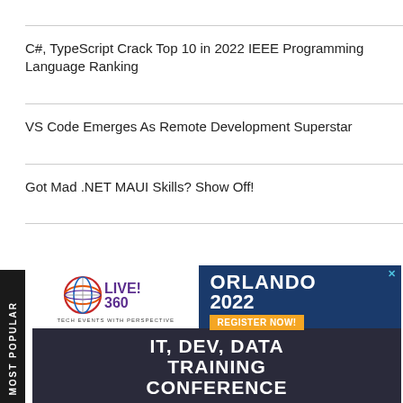C#, TypeScript Crack Top 10 in 2022 IEEE Programming Language Ranking
VS Code Emerges As Remote Development Superstar
Got Mad .NET MAUI Skills? Show Off!
[Figure (infographic): Advertisement for Live! 360 conference in Orlando 2022. Shows Live! 360 Tech Events With Perspective logo on left, Orlando 2022 text with Register Now button on right in dark blue, and IT, Dev, Data Training Conference banner at bottom over a hotel/resort photo background.]